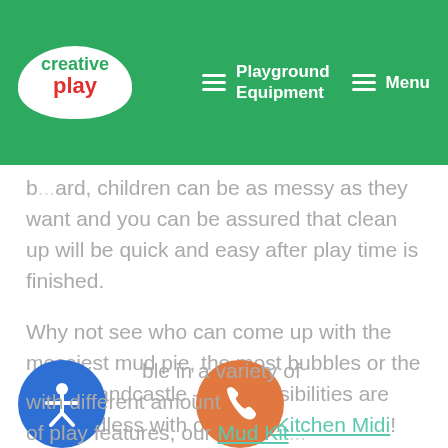Creative Play | Playground Equipment | Menu
b...ard, children can be as messy as they want and you can be assured that clean up will be quick and easy after play time is finished.
Why not see who can come up with the messiest mud pie, the most bubbles or the tallest sandcastle – the possibilities are truly endless with our Mud Kitchen Midi!
...ble in a variety of ... with different amount of play features, our Mud Kit...